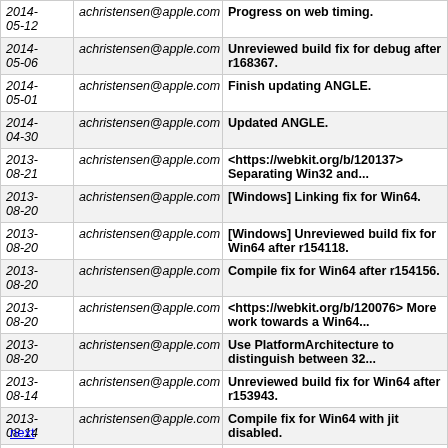| Date | Author | Message |
| --- | --- | --- |
| 2014-05-12 | achristensen@apple.com | Progress on web timing. |
| 2014-05-06 | achristensen@apple.com | Unreviewed build fix for debug after r168367. |
| 2014-05-01 | achristensen@apple.com | Finish updating ANGLE. |
| 2014-04-30 | achristensen@apple.com | Updated ANGLE. |
| 2013-08-21 | achristensen@apple.com | <https://webkit.org/b/120137> Separating Win32 and... |
| 2013-08-20 | achristensen@apple.com | [Windows] Linking fix for Win64. |
| 2013-08-20 | achristensen@apple.com | [Windows] Unreviewed build fix for Win64 after r154118. |
| 2013-08-20 | achristensen@apple.com | Compile fix for Win64 after r154156. |
| 2013-08-20 | achristensen@apple.com | <https://webkit.org/b/120076> More work towards a Win64... |
| 2013-08-20 | achristensen@apple.com | Use PlatformArchitecture to distinguish between 32... |
| 2013-08-14 | achristensen@apple.com | Unreviewed build fix for Win64 after r153943. |
| 2013-08-14 | achristensen@apple.com | Compile fix for Win64 with jit disabled. |
| 2013-08-09 | achristensen@apple.com | Link to correct DirectX libraries for Win64 ANGLE build. |
next